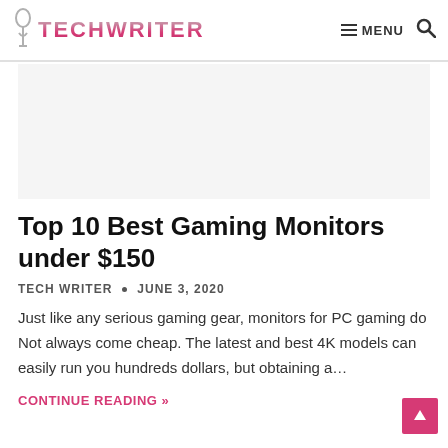TECHWRITER — MENU (navigation bar with search icon)
[Figure (other): Advertisement/banner placeholder area (gray box)]
Top 10 Best Gaming Monitors under $150
TECH WRITER • JUNE 3, 2020
Just like any serious gaming gear, monitors for PC gaming do Not always come cheap. The latest and best 4K models can easily run you hundreds dollars, but obtaining a…
CONTINUE READING »